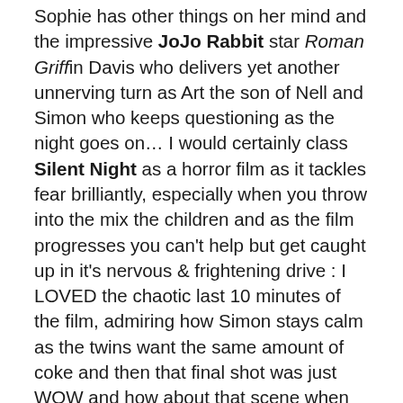Sophie has other things on her mind and the impressive JoJo Rabbit star Roman Griffin Davis who delivers yet another unnerving turn as Art the son of Nell and Simon who keeps questioning as the night goes on… I would certainly class Silent Night as a horror film as it tackles fear brilliantly, especially when you throw into the mix the children and as the film progresses you can't help but get caught up in it's nervous & frightening drive : I LOVED the chaotic last 10 minutes of the film, admiring how Simon stays calm as the twins want the same amount of coke and then that final shot was just WOW and how about that scene when Art runs away and comes across an abandoned car and I so enjoyed watching Sandra purr over James throughout… SILENT NIGHT is a movie executed with a passion and thought provoking precision by a director making her feature debut from a story she had written… it's one that I just connected with right from